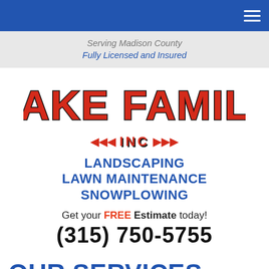Navigation bar with hamburger menu
Serving Madison County
Fully Licensed and Insured
[Figure (logo): Lake Family Inc logo with red bold stylized text 'LAKE FAMILY' and 'INC' with red arrows on either side]
LANDSCAPING
LAWN MAINTENANCE
SNOWPLOWING
Get your FREE Estimate today!
(315) 750-5755
OUR SERVICES
Our hard working crew of landscaping specialists will